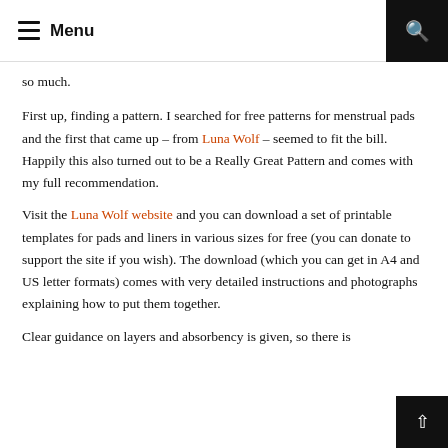Menu
so much.
First up, finding a pattern. I searched for free patterns for menstrual pads and the first that came up – from Luna Wolf – seemed to fit the bill. Happily this also turned out to be a Really Great Pattern and comes with my full recommendation.
Visit the Luna Wolf website and you can download a set of printable templates for pads and liners in various sizes for free (you can donate to support the site if you wish). The download (which you can get in A4 and US letter formats) comes with very detailed instructions and photographs explaining how to put them together.
Clear guidance on layers and absorbency is given, so there is